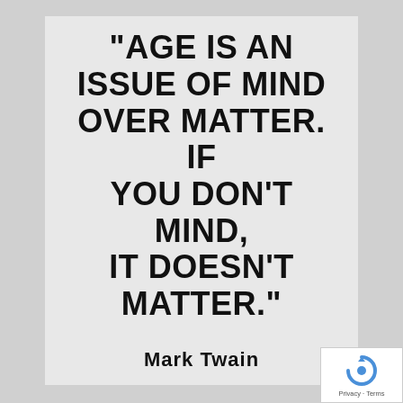"Age is an issue of mind over matter. If you don't mind, it doesn't matter."
Mark Twain